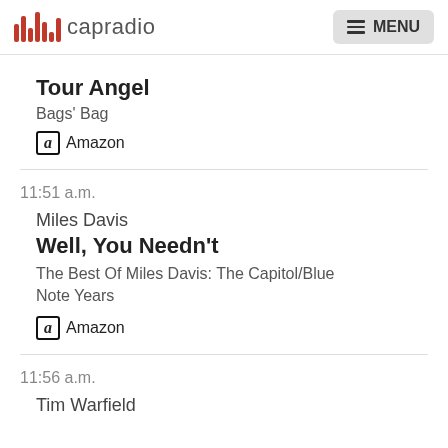capradio  MENU
Tour Angel
Bags' Bag
Amazon
11:51 a.m.
Miles Davis
Well, You Needn't
The Best Of Miles Davis: The Capitol/Blue Note Years
Amazon
11:56 a.m.
Tim Warfield